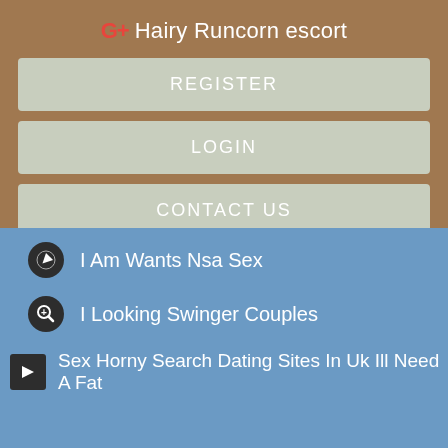G+ Hairy Runcorn escort
REGISTER
LOGIN
CONTACT US
I Am Wants Nsa Sex
I Looking Swinger Couples
Sex Horny Search Dating Sites In Uk Ill Need A Fat